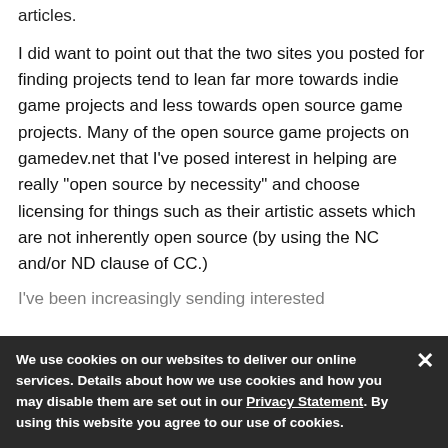articles.
I did want to point out that the two sites you posted for finding projects tend to lean far more towards indie game projects and less towards open source game projects. Many of the open source game projects on gamedev.net that I've posed interest in helping are really "open source by necessity" and choose licensing for things such as their artistic assets which are not inherently open source (by using the NC and/or ND clause of CC.)
I've been increasingly sending interested
We use cookies on our websites to deliver our online services. Details about how we use cookies and how you may disable them are set out in our Privacy Statement. By using this website you agree to our use of cookies.
Game Dev